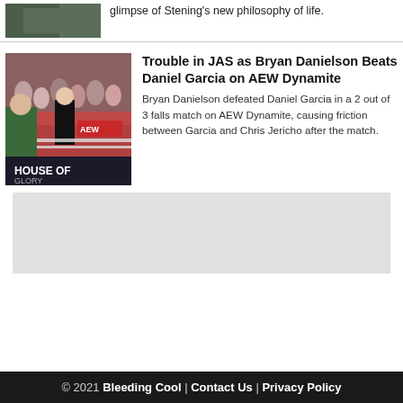[Figure (photo): Partial image of a person, cropped at top of page]
glimpse of Stening's new philosophy of life.
[Figure (photo): Wrestling match photo showing wrestlers inside a ring, with crowd in background, House of Glory branding visible]
Trouble in JAS as Bryan Danielson Beats Daniel Garcia on AEW Dynamite
Bryan Danielson defeated Daniel Garcia in a 2 out of 3 falls match on AEW Dynamite, causing friction between Garcia and Chris Jericho after the match.
[Figure (other): Advertisement block, gray placeholder]
© 2021 Bleeding Cool | Contact Us | Privacy Policy